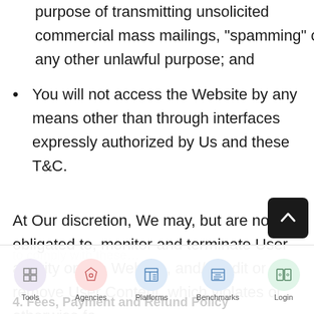purpose of transmitting unsolicited commercial mass mailings, "spamming" or any other unlawful purpose; and
You will not access the Website by any means other than through interfaces expressly authorized by Us and these T&C.
At Our discretion, We may, but are not obligated to, monitor and terminate User activity on the Website, and/or edit or remove User Content, which violates or otherwise fa…
to comply with these…
4. Fees, Payment and Refund Policy